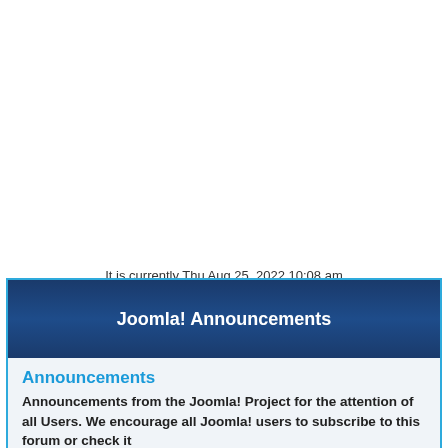It is currently Thu Aug 25, 2022 10:08 am
Joomla! Announcements
Announcements
Announcements from the Joomla! Project for the attention of all Users. We encourage all Joomla! users to subscribe to this forum or check it